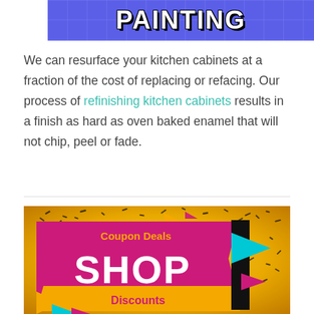[Figure (illustration): Blue grid-patterned banner with bold white outlined text reading PAINTING]
We can resurface your kitchen cabinets at a fraction of the cost of replacing or refacing. Our process of refinishing kitchen cabinets results in a finish as hard as oven baked enamel that will not chip, peel or fade.
[Figure (illustration): Gold glitter background promotional banner with magenta and orange shapes, cyan and magenta triangles, black vertical bar, text reading Coupon Deals, SHOP, Discounts]